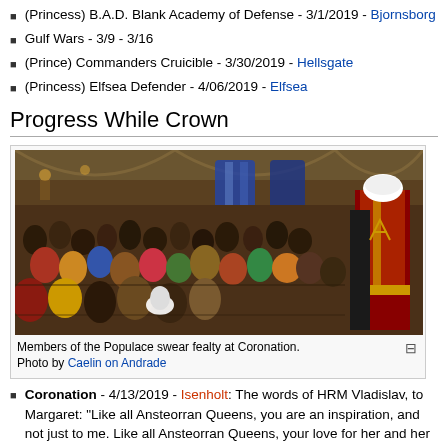(Princess) B.A.D. Blank Academy of Defense - 3/1/2019 - Bjornsborg
Gulf Wars - 3/9 - 3/16
(Prince) Commanders Cruicible - 3/30/2019 - Hellsgate
(Princess) Elfsea Defender - 4/06/2019 - Elfsea
Progress While Crown
[Figure (photo): Members of the Populace swear fealty at Coronation. A large crowd of people in medieval costume fills a great hall, with a figure in royal robes standing at the right.]
Members of the Populace swear fealty at Coronation.
Photo by Caelin on Andrade
Coronation - 4/13/2019 - Isenholt: The words of HRM Vladislav, to Margaret: "Like all Ansteorran Queens, you are an inspiration, and not just to me. Like all Ansteorran Queens, your love for her and her people is evident in all that you do. Like all Ansteorran Queens, you are a